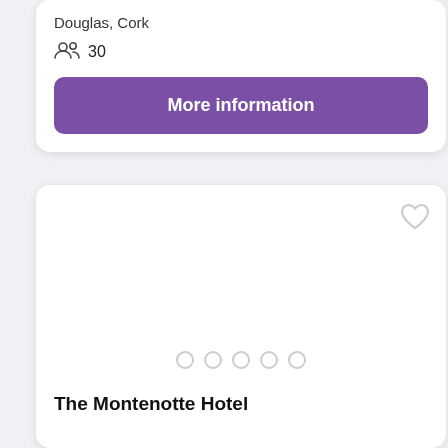Douglas, Cork
30
More information
[Figure (other): Hotel image carousel placeholder with 5 navigation dots and a heart/favorite icon in the top right corner]
The Montenotte Hotel